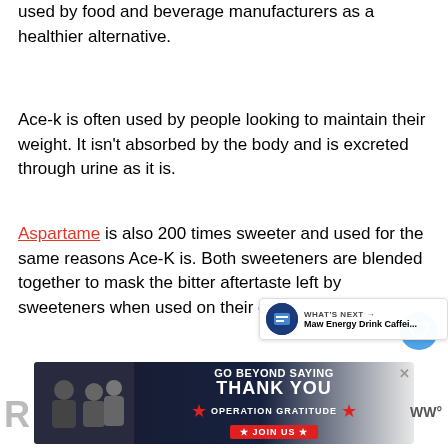used by food and beverage manufacturers as a healthier alternative.
Ace-k is often used by people looking to maintain their weight. It isn't absorbed by the body and is excreted through urine as it is.
Aspartame is also 200 times sweeter and used for the same reasons Ace-K is. Both sweeteners are blended together to mask the bitter aftertaste left by sweeteners when used on their own.
[Figure (screenshot): Advertisement banner: Operation Gratitude - Go Beyond Saying Thank You with Join Us button]